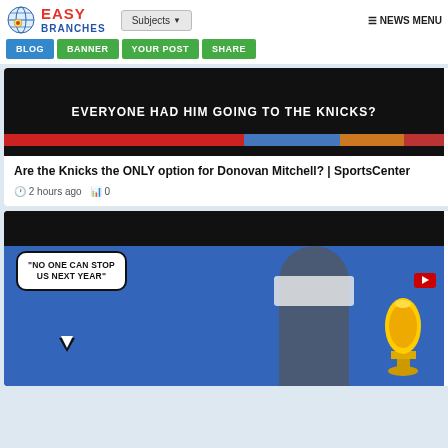EASY BRANCHES | Subjects | NEWS MENU | BLOG | BANNER | YOUR POST | SHARE
[Figure (screenshot): Dark background image with bold white uppercase text: 'EVERYONE HAD HIM GOING TO THE KNICKS?' with colored bars at bottom]
Are the Knicks the ONLY option for Donovan Mitchell? | SportsCenter
2 hours ago   0
[Figure (photo): Stephen Curry wearing NBA Champions hat next to Larry O'Brien trophy with speech bubble saying 'NO ONE CAN STOP US NEXT YEAR']